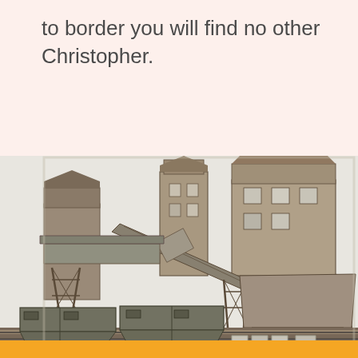to border you will find no other Christopher.
[Figure (photo): Black and white photograph of an industrial coal or ore loading facility with large elevated structures, conveyor chutes, and railway hopper cars on tracks below. The facility has several multi-story wooden or metal buildings with chutes angled down to the rail cars.]